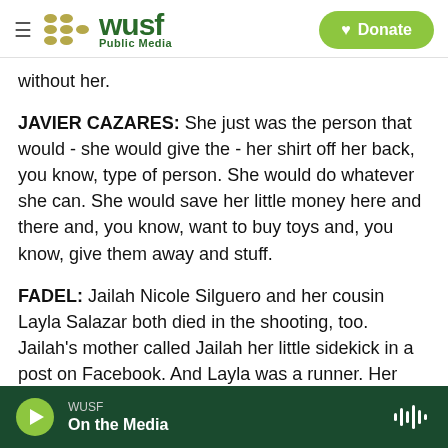WUSF Public Media | Donate
without her.
JAVIER CAZARES: She just was the person that would - she would give the - her shirt off her back, you know, type of person. She would do whatever she can. She would save her little money here and there and, you know, want to buy toys and, you know, give them away and stuff.
FADEL: Jailah Nicole Silguero and her cousin Layla Salazar both died in the shooting, too. Jailah's mother called Jailah her little sidekick in a post on Facebook. And Layla was a runner. Her dad says
WUSF | On the Media